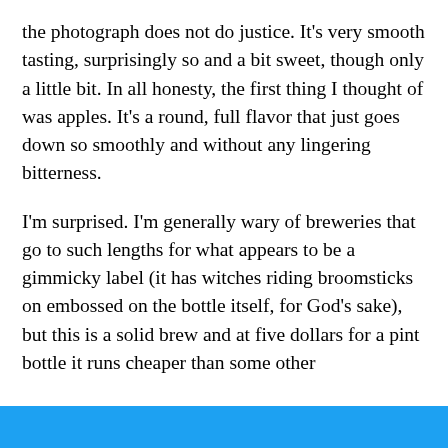the photograph does not do justice. It's very smooth tasting, surprisingly so and a bit sweet, though only a little bit. In all honesty, the first thing I thought of was apples. It's a round, full flavor that just goes down so smoothly and without any lingering bitterness.
I'm surprised. I'm generally wary of breweries that go to such lengths for what appears to be a gimmicky label (it has witches riding broomsticks on embossed on the bottle itself, for God's sake), but this is a solid brew and at five dollars for a pint bottle it runs cheaper than some other
Privacy & Cookies: This site uses cookies. By continuing to use this website, you agree to their use.
To find out more, including how to control cookies, see here: Cookie Policy